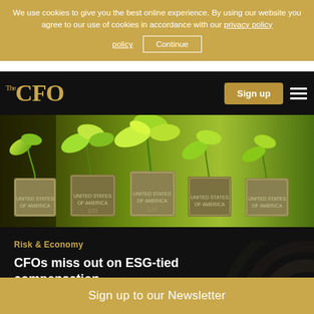We use cookies to give you the best online experience. By using our website you agree to our use of cookies in accordance with our privacy policy
Continue
[Figure (logo): The CFO logo in gold serif font on black navigation bar]
[Figure (photo): Photo of US dollar bills rolled up with green plants growing out of them, symbolizing ESG and financial growth]
Risk & Economy
CFOs miss out on ESG-tied compensation
5m | Aoife Morgan
Sign up to our Newsletter